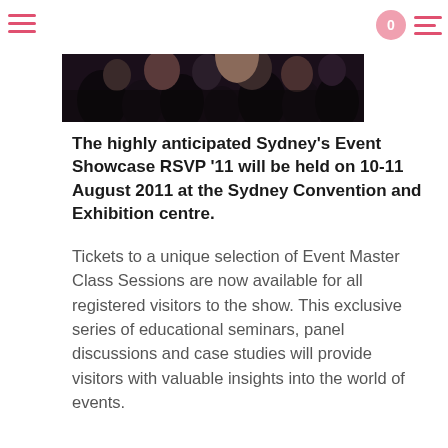Spice
[Figure (photo): Audience/crowd at an event, dark background with silhouettes of people, shown at the top of the article page under the Spice magazine header]
The highly anticipated Sydney's Event Showcase RSVP '11 will be held on 10-11 August 2011 at the Sydney Convention and Exhibition centre.
Tickets to a unique selection of Event Master Class Sessions are now available for all registered visitors to the show. This exclusive series of educational seminars, panel discussions and case studies will provide visitors with valuable insights into the world of events.